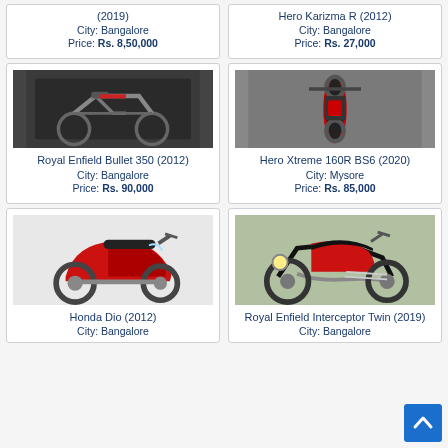[Figure (photo): Partial card top - cropped motorcycle listing (2019), City: Bangalore, Price: Rs. 8,50,000]
[Figure (photo): Partial card top - Hero Karizma R (2012), City: Bangalore, Price: Rs. 27,000]
[Figure (photo): Royal Enfield Bullet 350 (2012) motorcycle photo, dark background]
Royal Enfield Bullet 350 (2012)
City: Bangalore
Price: Rs. 90,000
[Figure (photo): Hero Xtreme 160R BS6 (2020) motorcycle photo, aerial view]
Hero Xtreme 160R BS6 (2020)
City: Mysore
Price: Rs. 85,000
[Figure (photo): Honda Dio (2012) red scooter photo, white background]
Honda Dio (2012)
City: Bangalore
[Figure (photo): Royal Enfield Interceptor Twin (2019) red motorcycle photo]
Royal Enfield Interceptor Twin (2019)
City: Bangalore